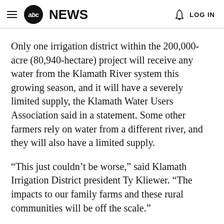abc NEWS  LOG IN
Only one irrigation district within the 200,000-acre (80,940-hectare) project will receive any water from the Klamath River system this growing season, and it will have a severely limited supply, the Klamath Water Users Association said in a statement. Some other farmers rely on water from a different river, and they will also have a limited supply.
“This just couldn’t be worse,” said Klamath Irrigation District president Ty Kliewer. “The impacts to our family farms and these rural communities will be off the scale.”